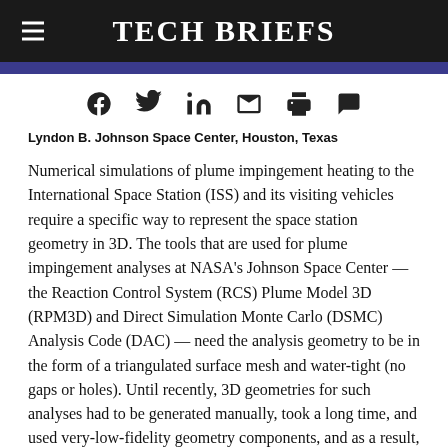Tech Briefs
Lyndon B. Johnson Space Center, Houston, Texas
Numerical simulations of plume impingement heating to the International Space Station (ISS) and its visiting vehicles require a specific way to represent the space station geometry in 3D. The tools that are used for plume impingement analyses at NASA's Johnson Space Center — the Reaction Control System (RCS) Plume Model 3D (RPM3D) and Direct Simulation Monte Carlo (DSMC) Analysis Code (DAC) — need the analysis geometry to be in the form of a triangulated surface mesh and water-tight (no gaps or holes). Until recently, 3D geometries for such analyses had to be generated manually, took a long time, and used very-low-fidelity geometry components, and as a result, the